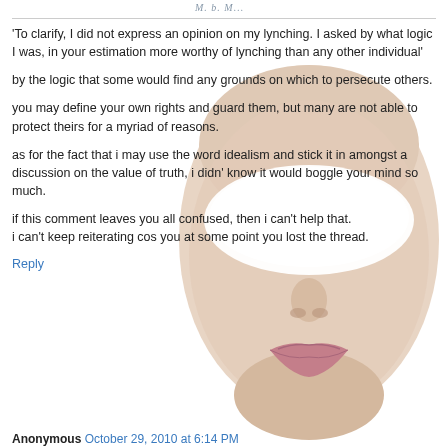[Figure (illustration): A face with a white mask covering the eye area, overlaid behind the comment text]
'To clarify, I did not express an opinion on my lynching. I asked by what logic I was, in your estimation more worthy of lynching than any other individual'
by the logic that some would find any grounds on which to persecute others.
you may define your own rights and guard them, but many are not able to protect theirs for a myriad of reasons.
as for the fact that i may use the word idealism and stick it in amongst a discussion on the value of truth, i didn' know it would boggle your mind so much.
if this comment leaves you all confused, then i can't help that.
i can't keep reiterating cos you at some point you lost the thread.
Reply
Anonymous October 29, 2010 at 6:14 PM